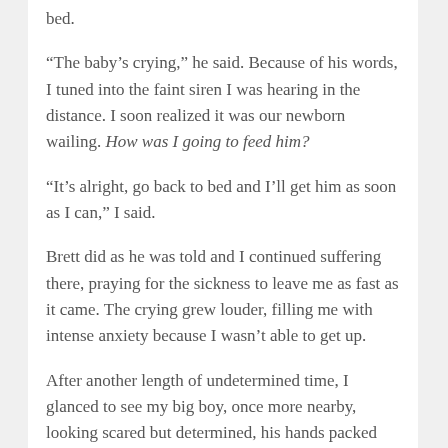bed.
“The baby’s crying,” he said. Because of his words, I tuned into the faint siren I was hearing in the distance. I soon realized it was our newborn wailing. How was I going to feed him?
“It’s alright, go back to bed and I’ll get him as soon as I can,” I said.
Brett did as he was told and I continued suffering there, praying for the sickness to leave me as fast as it came. The crying grew louder, filling me with intense anxiety because I wasn’t able to get up.
After another length of undetermined time, I glanced to see my big boy, once more nearby, looking scared but determined, his hands packed full. He had his One Hundred and One Dalmatian comforter bundled in one arm and his distant right brother…